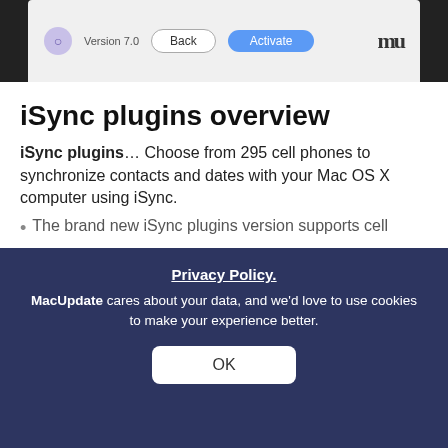[Figure (screenshot): macOS app dialog bar showing Version 7.0, Back button, Activate button (blue), and MacUpdate logo]
iSync plugins overview
iSync plugins… Choose from 295 cell phones to synchronize contacts and dates with your Mac OS X computer using iSync.
The brand new iSync plugins version supports cell
Read more
What's new in version 7.1.4
Updated: April 2011
Version:
New cell phone models supported:
Nokia 55-00
Privacy Policy. MacUpdate cares about your data, and we'd love to use cookies to make your experience better.
OK